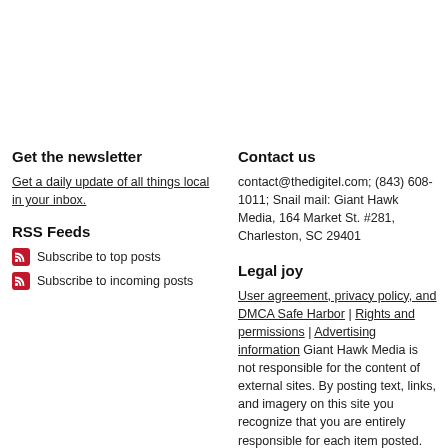Get the newsletter
Get a daily update of all things local in your inbox.
RSS Feeds
Subscribe to top posts
Subscribe to incoming posts
Contact us
contact@thedigitel.com; (843) 608-1011; Snail mail: Giant Hawk Media, 164 Market St. #281, Charleston, SC 29401
Legal joy
User agreement, privacy policy, and DMCA Safe Harbor | Rights and permissions | Advertising information Giant Hawk Media is not responsible for the content of external sites. By posting text, links, and imagery on this site you recognize that you are entirely responsible for each item posted.